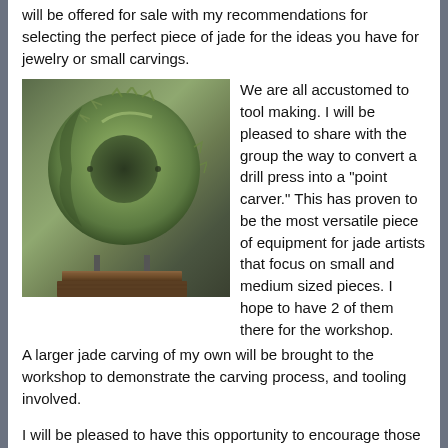will be offered for sale with my recommendations for selecting the perfect piece of jade for the ideas you have for jewelry or small carvings.
[Figure (photo): A circular jade disc (bi disc) with serrated edges mounted on a wooden base with metal rods, displayed against a grey background.]
We are all accustomed to tool making. I will be pleased to share with the group the way to convert a drill press into a "point carver." This has proven to be the most versatile piece of equipment for jade artists that focus on small and medium sized pieces. I hope to have 2 of them there for the workshop.
A larger jade carving of my own will be brought to the workshop to demonstrate the carving process, and tooling involved.
I will be pleased to have this opportunity to encourage those interested to pursue the art of carving jade. The renaissance is still in the making. For now, let the Jade Carving journey di...